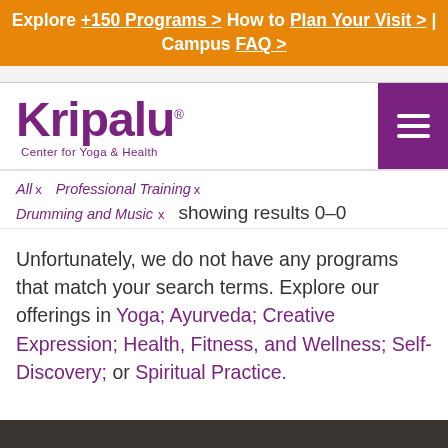Explore +150 Programs > How to Plan Your Visit > | Campus FAQ >
[Figure (logo): Kripalu Center for Yoga & Health logo in purple]
All x   Professional Training x   Drumming and Music x   showing results 0–0
Unfortunately, we do not have any programs that match your search terms. Explore our offerings in Yoga; Ayurveda; Creative Expression; Health, Fitness, and Wellness; Self-Discovery; or Spiritual Practice.